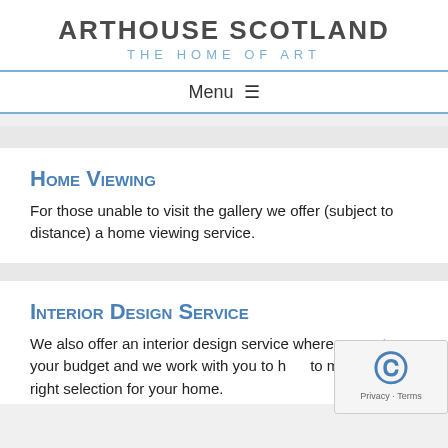ARTHOUSE SCOTLAND THE HOME OF ART
Menu ☰
Home Viewing
For those unable to visit the gallery we offer (subject to distance) a home viewing service.
Interior Design Service
We also offer an interior design service where you set your budget and we work with you to help to make the right selection for your home.